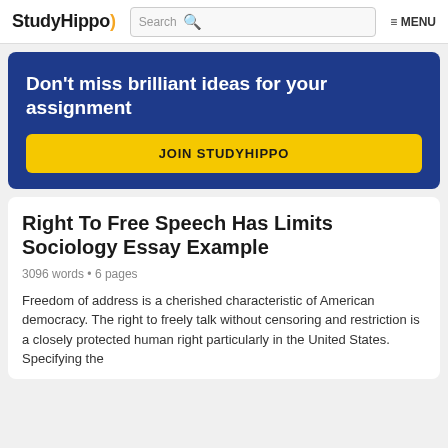StudyHippo  Search  MENU
Don't miss brilliant ideas for your assignment
JOIN STUDYHIPPO
Right To Free Speech Has Limits Sociology Essay Example
3096 words • 6 pages
Freedom of address is a cherished characteristic of American democracy. The right to freely talk without censoring and restriction is a closely protected human right particularly in the United States. Specifying the